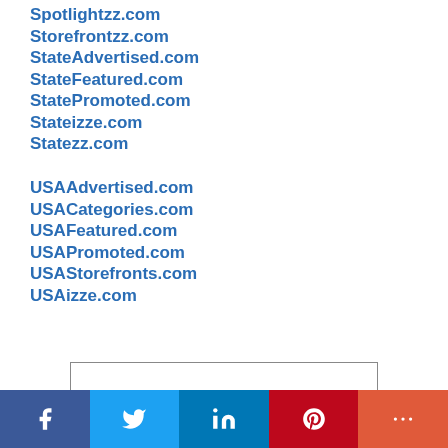Spotlightzz.com
Storefrontzz.com
StateAdvertised.com
StateFeatured.com
StatePromoted.com
Stateizze.com
Statezz.com
USAAdvertised.com
USACategories.com
USAFeatured.com
USAPromoted.com
USAStorefronts.com
USAizze.com